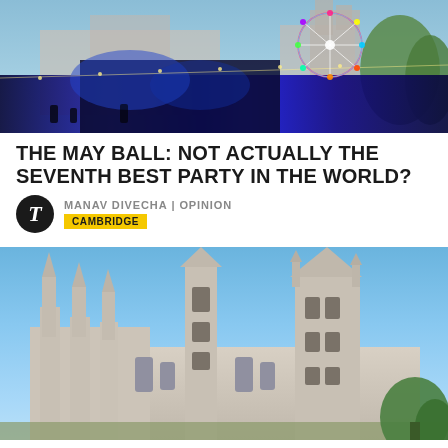[Figure (photo): Night photo of a May Ball event at Cambridge with stage lights, blue illuminated buildings, a ferris wheel with colorful lights, and trees in the background against a twilight sky.]
THE MAY BALL: NOT ACTUALLY THE SEVENTH BEST PARTY IN THE WORLD?
MANAV DIVECHA | OPINION
CAMBRIDGE
[Figure (photo): Daytime photo of King's College Chapel, Cambridge, showing the Gothic architecture with tall spires against a clear blue sky, with a green tree in the lower right corner.]